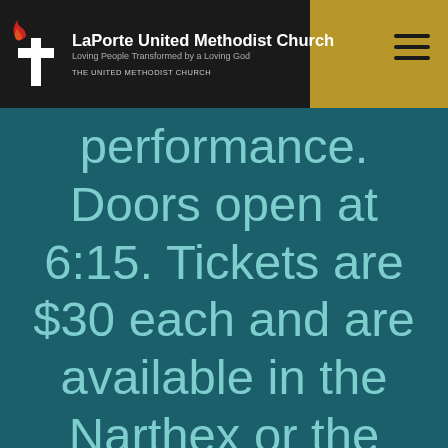LaPorte United Methodist Church — Loving People Transformed by a Loving God — THE UNITED METHODIST CHURCH
performance. Doors open at 6:15. Tickets are $30 each and are available in the Narthex or the church office.